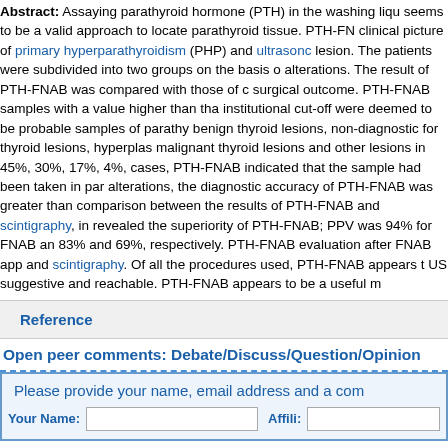Abstract: Assaying parathyroid hormone (PTH) in the washing liquid seems to be a valid approach to locate parathyroid tissue. PTH-FN clinical picture of primary hyperparathyroidism (PHP) and ultrasono lesion. The patients were subdivided into two groups on the basis of alterations. The result of PTH-FNAB was compared with those of c surgical outcome. PTH-FNAB samples with a value higher than tha institutional cut-off were deemed to be probable samples of parathy benign thyroid lesions, non-diagnostic for thyroid lesions, hyperplas malignant thyroid lesions and other lesions in 45%, 30%, 17%, 4%, cases, PTH-FNAB indicated that the sample had been taken in par alterations, the diagnostic accuracy of PTH-FNAB was greater than comparison between the results of PTH-FNAB and scintigraphy, in revealed the superiority of PTH-FNAB; PPV was 94% for FNAB an 83% and 69%, respectively. PTH-FNAB evaluation after FNAB app and scintigraphy. Of all the procedures used, PTH-FNAB appears t US suggestive and reachable. PTH-FNAB appears to be a useful m
Reference
Open peer comments: Debate/Discuss/Question/Opinion
Please provide your name, email address and a com Your Name: Affili: